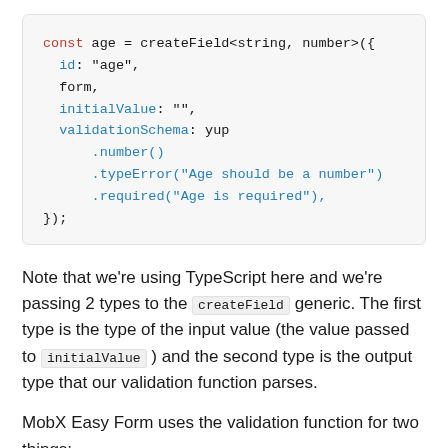[Figure (screenshot): Code block showing TypeScript usage of createField with age field configuration including id, form, initialValue, and validationSchema using yup]
Note that we're using TypeScript here and we're passing 2 types to the createField generic. The first type is the type of the input value (the value passed to initialValue ) and the second type is the output type that our validation function parses.
MobX Easy Form uses the validation function for two things: